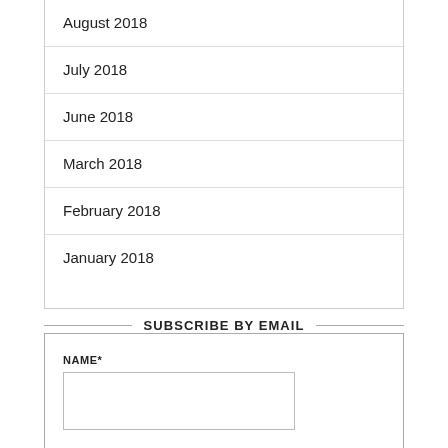August 2018
July 2018
June 2018
March 2018
February 2018
January 2018
SUBSCRIBE BY EMAIL
NAME*